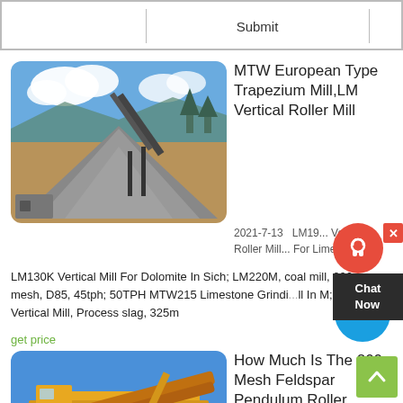Submit
[Figure (photo): Quarry site with large pile of crushed stone/gravel, industrial conveyor belt structure in the background, clear blue sky with clouds, green trees visible, construction equipment on the left]
MTW European Type Trapezium Mill,LM Vertical Roller Mill
2021-7-13   LM19... Vertical Roller Mill... For Limestone; LM130K Vertical Mill For Dolomite In Sich; LM220M, coal mill, 200 mesh, D85, 45tph; 50TPH MTW215 Limestone Grindi...ll In M; LM130N Vertical Mill, Process slag, 325m
get price
[Figure (photo): Yellow industrial crushing/screening machine equipment on a construction site under blue sky]
How Much Is The 200 Mesh Feldspar Pendulum Roller